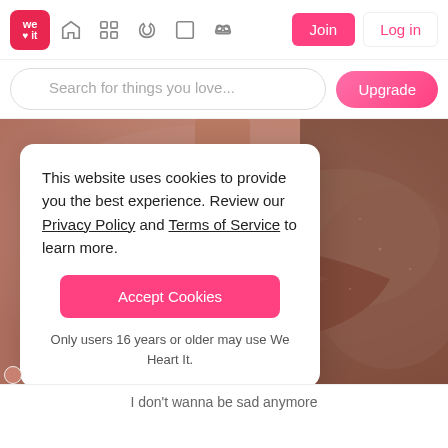We Heart It — Navigation: Home, Grid, Create, Frame, Music | Join | Log in
Search for things you love...
Upgrade
[Figure (photo): Close-up photo of lips with a makeup product (lip liner or lipstick) being applied, warm peachy-nude tones]
This website uses cookies to provide you the best experience. Review our Privacy Policy and Terms of Service to learn more.
Accept Cookies
Only users 16 years or older may use We Heart It.
I don't wanna be sad anymore